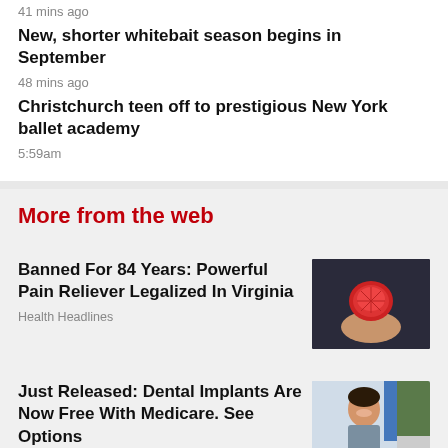41 mins ago
New, shorter whitebait season begins in September
48 mins ago
Christchurch teen off to prestigious New York ballet academy
5:59am
More from the web
Banned For 84 Years: Powerful Pain Reliever Legalized In Virginia
Health Headlines
[Figure (photo): Hand holding a red gummy/supplement on a dark background]
Just Released: Dental Implants Are Now Free With Medicare. See Options
Dental Implant | Search Ads
[Figure (photo): Woman smiling outdoors near a blue wall and trees]